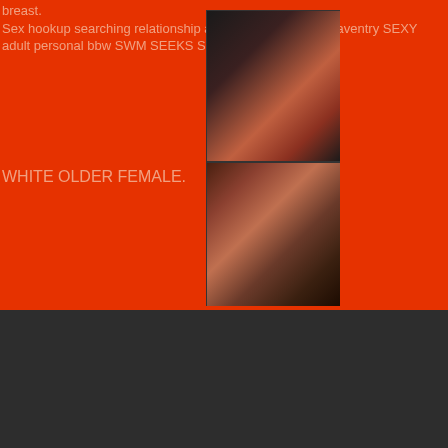breast. Sex hookup searching relationship advice girls for sex in daventry SEXY adult personal bbw SWM SEEKS SEXY
WHITE OLDER FEMALE.
[Figure (photo): Photo of a person in black lingerie, cropped, on orange-red background]
Video unavailable
This video is no longer available because